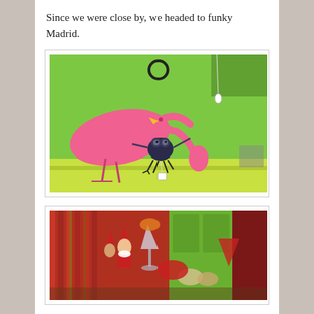Since we were close by, we headed to funky Madrid.
[Figure (photo): Decorative flamingo figurines and a dark metal bug/frog sculpture on a green shelf against a bright green wall. Two pink flamingo decorations and a small dark character figure with a price tag.]
[Figure (photo): Colorful garden decorations and figurines displayed against a red wooden fence with a green door, including gnome-like figures and glass vase items.]